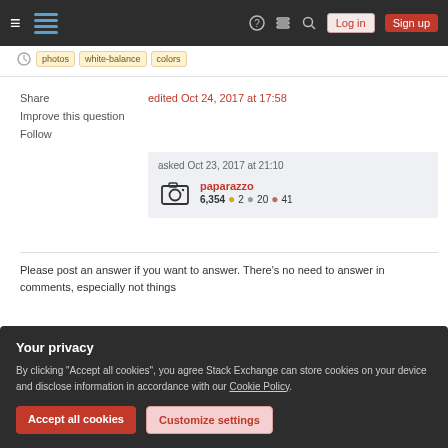Stack Exchange navigation bar with Log in and Sign up buttons
edited Oct 24, 2017 at 17:58
Share
Improve this question
Follow
asked Oct 23, 2017 at 21:10 — paparazzo 6,354 ●2 ●20 ●41
Please post an answer if you want to answer. There's no need to answer in comments, especially not things
Your privacy
By clicking "Accept all cookies", you agree Stack Exchange can store cookies on your device and disclose information in accordance with our Cookie Policy.
Accept all cookies
Customize settings